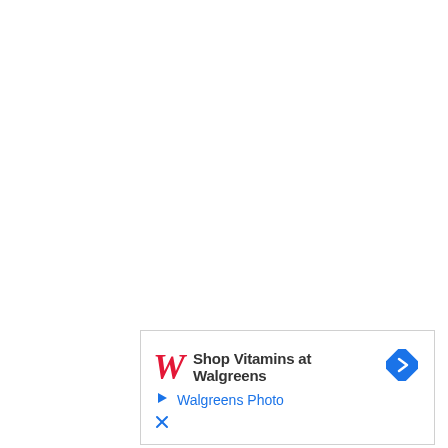[Figure (illustration): Walgreens advertisement banner. Contains the Walgreens stylized red cursive 'W' logo, text 'Shop Vitamins at Walgreens' in bold dark gray, a blue diamond-shaped navigation/arrow icon on the right, a play button triangle icon on the left of the second row, and blue hyperlink text 'Walgreens Photo'. Below that is a close/X icon.]